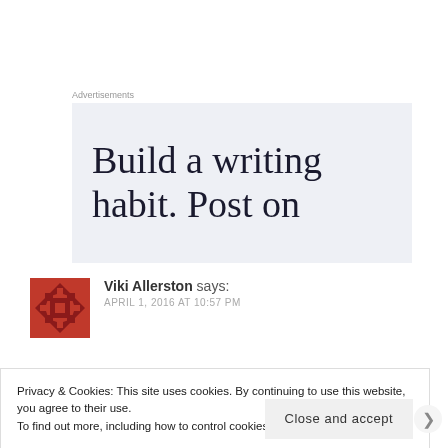Advertisements
[Figure (other): Ad banner with text: Build a writing habit. Post on]
Viki Allerston says: APRIL 1, 2016 AT 10:57 PM
Privacy & Cookies: This site uses cookies. By continuing to use this website, you agree to their use.
To find out more, including how to control cookies, see here: Cookie Policy
Close and accept